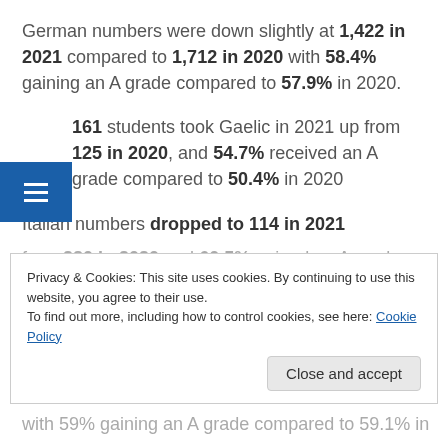German numbers were down slightly at 1,422 in 2021 compared to 1,712 in 2020 with 58.4% gaining an A grade compared to 57.9% in 2020.
161 students took Gaelic in 2021 up from 125 in 2020, and 54.7% received an A grade compared to 50.4% in 2020
Italian numbers dropped to 114 in 2021 from 280 in 2020 and 60.5% gained an A grade
with 59% gaining an A grade compared to 59.1% in